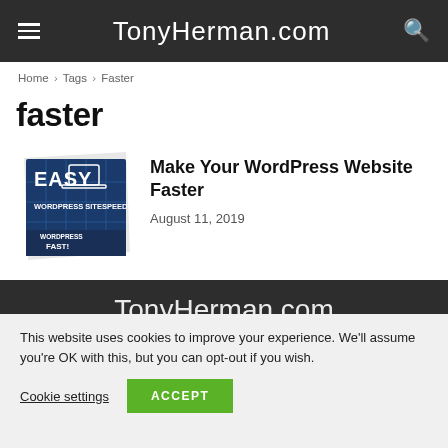TonyHerman.com
Home › Tags › Faster
faster
[Figure (illustration): Book cover: EASY WORDPRESS SITESPEED — WORDPRESS FAST! Dark blue book with laptop icon and grid background]
Make Your WordPress Website Faster
August 11, 2019
TonyHerman.com
This website uses cookies to improve your experience. We'll assume you're OK with this, but you can opt-out if you wish.
Cookie settings   ACCEPT